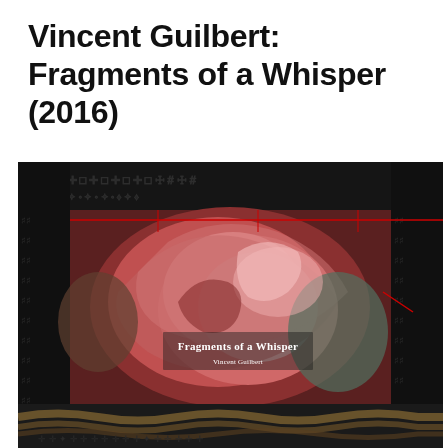Vincent Guilbert: Fragments of a Whisper (2016)
[Figure (photo): Photograph of a book titled 'Fragments of a Whisper' by Vincent Guilbert, showing the book cover with a floral painting (large pink/red flower). The book is placed on a dark patterned fabric background with cross/hash patterns, and rope visible at the bottom. Red registration lines are visible across the top portion of the image.]